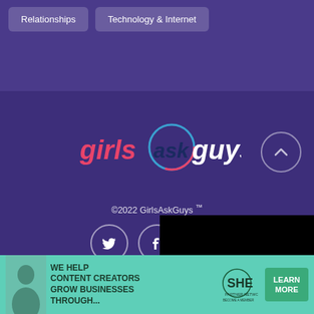Relationships
Technology & Internet
[Figure (logo): GirlsAskGuys logo — word mark with pink 'girls', blue circle 'ask', white 'guys' text]
©2022 GirlsAskGuys ™
[Figure (infographic): Social media icons: Twitter (bird), Facebook (f), Instagram (camera) — white outline circles on purple background]
[Figure (screenshot): Download on the App Store button (Apple logo + text)]
[Figure (other): Black video player overlay with white play triangle button]
[Figure (infographic): Advertisement banner: SHE Media Partner Network — We help content creators grow businesses through... Learn More button]